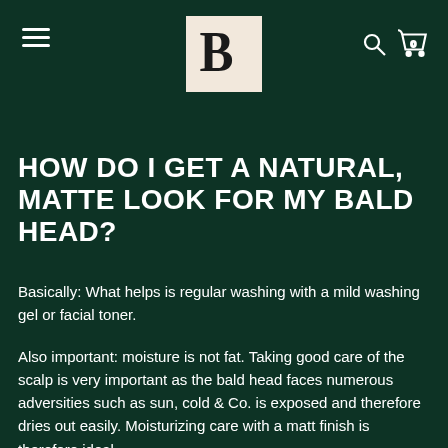Navigation header with hamburger menu, B logo, search icon, and cart (0)
HOW DO I GET A NATURAL, MATTE LOOK FOR MY BALD HEAD?
Basically: What helps is regular washing with a mild washing gel or facial toner.
Also important: moisture is not fat. Taking good care of the scalp is very important as the bald head faces numerous adversities such as sun, cold & Co. is exposed and therefore dries out easily. Moisturizing care with a matt finish is therefore ideal.
And yes, you probably already guessed it, now comes